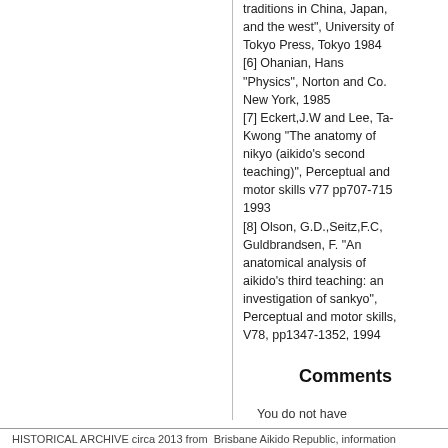traditions in China, Japan, and the west", University of Tokyo Press, Tokyo 1984
[6] Ohanian, Hans "Physics", Norton and Co. New York, 1985
[7] Eckert,J.W and Lee, Ta-Kwong "The anatomy of nikyo (aikido's second teaching)", Perceptual and motor skills v77 pp707-715 1993
[8] Olson, G.D.,Seitz,F.C, Guldbrandsen, F. "An anatomical analysis of aikido's third teaching: an investigation of sankyo", Perceptual and motor skills, V78, pp1347-1352, 1994
Comments
You do not have permission to add comments.
HISTORICAL ARCHIVE circa 2013 from  Brisbane Aikido Republic, information